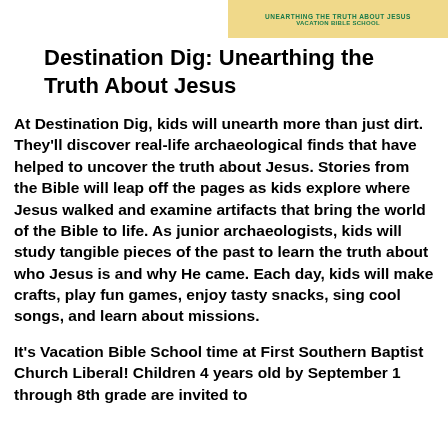[Figure (illustration): Book cover or banner image for 'Destination Dig: Unearthing the Truth About Jesus VBS' with tan/yellow background and green text, positioned top right]
Destination Dig: Unearthing the Truth About Jesus
At Destination Dig, kids will unearth more than just dirt. They'll discover real-life archaeological finds that have helped to uncover the truth about Jesus. Stories from the Bible will leap off the pages as kids explore where Jesus walked and examine artifacts that bring the world of the Bible to life. As junior archaeologists, kids will study tangible pieces of the past to learn the truth about who Jesus is and why He came. Each day, kids will make crafts, play fun games, enjoy tasty snacks, sing cool songs, and learn about missions.
It's Vacation Bible School time at First Southern Baptist Church Liberal! Children 4 years old by September 1 through 8th grade are invited to